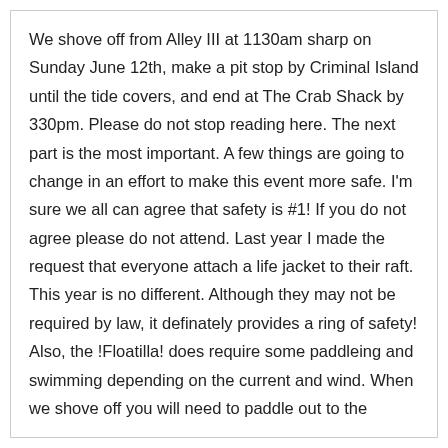We shove off from Alley III at 1130am sharp on Sunday June 12th, make a pit stop by Criminal Island until the tide covers, and end at The Crab Shack by 330pm. Please do not stop reading here. The next part is the most important. A few things are going to change in an effort to make this event more safe. I'm sure we all can agree that safety is #1! If you do not agree please do not attend. Last year I made the request that everyone attach a life jacket to their raft. This year is no different. Although they may not be required by law, it definately provides a ring of safety! Also, the !Floatilla! does require some paddleing and swimming depending on the current and wind. When we shove off you will need to paddle out to the middle of the Back River in an attempt to get into the current. Boats and kayaks are encouraged and I ask that everyone looks out for their fellow floater! I am going to try to get the Marine Rescue Squad,